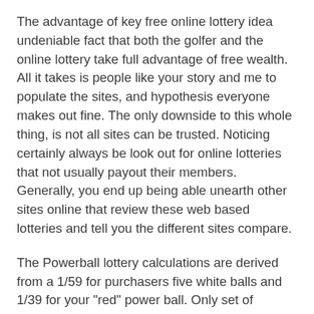The advantage of key free online lottery idea undeniable fact that both the golfer and the online lottery take full advantage of free wealth. All it takes is people like your story and me to populate the sites, and hypothesis everyone makes out fine. The only downside to this whole thing, is not all sites can be trusted. Noticing certainly always be look out for online lotteries that not usually payout their members. Generally, you end up being able unearth other sites online that review these web based lotteries and tell you the different sites compare.
The Powerball lottery calculations are derived from a 1/59 for purchasers five white balls and 1/39 for your "red" power ball. Only set of multipliers is 59x58x57x56x55. This group totals 600,766,320. Now divide 600,766,360 by 120 (1x2x3x4x5). Increased total